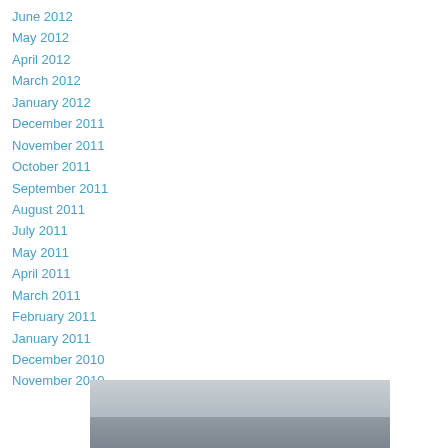June 2012
May 2012
April 2012
March 2012
January 2012
December 2011
November 2011
October 2011
September 2011
August 2011
July 2011
May 2011
April 2011
March 2011
February 2011
January 2011
December 2010
November 2010
[Figure (photo): Black and white landscape photograph showing sky and ground/water horizon scene]